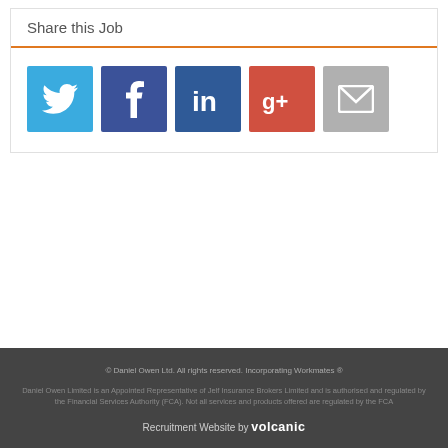Share this Job
[Figure (infographic): Five social media share buttons: Twitter (blue bird icon), Facebook (dark blue f icon), LinkedIn (dark blue in icon), Google+ (red g+ icon), Email (grey envelope icon)]
© Daniel Owen Ltd. All rights reserved. Incorporating Workmates ®
Daniel Owen Limited is an Appointed Representative of Jelf Insurance Brokers Limited and is authorised and regulated by the Financial Services Authority (FCA). Not all services and products offered are regulated by the FCA
Recruitment Website by volcanic